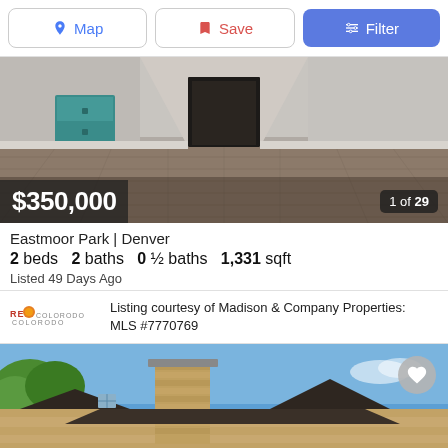[Figure (screenshot): Navigation bar with Map, Save, and Filter buttons]
[Figure (photo): Interior hallway photo of the property with hardwood floors and teal cabinet]
$350,000
1 of 29
Eastmoor Park | Denver
2 beds   2 baths   0 ½ baths   1,331 sqft
Listed 49 Days Ago
Listing courtesy of Madison & Company Properties: MLS #7770769
[Figure (photo): Exterior photo of a brick home with chimney against a blue sky with trees]